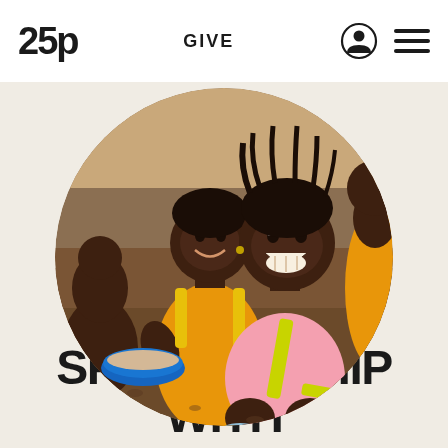25p  GIVE
[Figure (photo): Circular cropped photo of African children eating outdoors. A smiling girl in a pink shirt with a yellow strap sits cross-legged holding food, with another child in an orange dress behind her. A blue bowl with food is visible on the left.]
SPONSORSHIP WITH